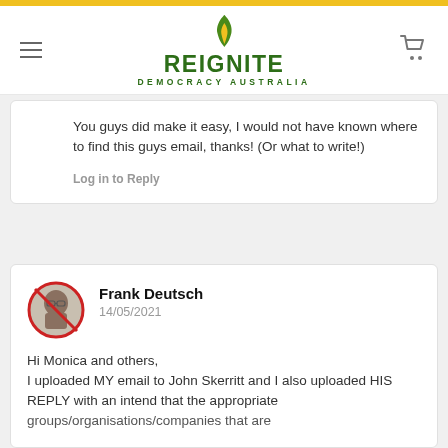[Figure (logo): Reignite Democracy Australia logo with flame icon]
You guys did make it easy, I would not have known where to find this guys email, thanks! (Or what to write!)
Log in to Reply
Frank Deutsch
14/05/2021
Hi Monica and others,
I uploaded MY email to John Skerritt and I also uploaded HIS REPLY with an intend that the appropriate
groups/organisations/companies that are